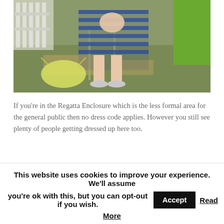[Figure (photo): A woman in a blue and white striped dress sitting outdoors on grass near a white fence, wearing silver strappy sandals. A yellow/lime green handbag lies on the ground beside her. A green bin or container is visible on the right.]
If you're in the Regatta Enclosure which is the less formal area for the general public then no dress code applies. However you still see plenty of people getting dressed up here too.
This website uses cookies to improve your experience. We'll assume you're ok with this, but you can opt-out if you wish. Accept Read More